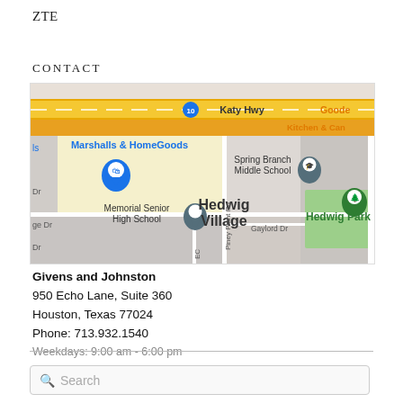ZTE
CONTACT
[Figure (map): Google Maps screenshot showing the area around Hedwig Village, Houston, Texas. Visible landmarks include Marshalls & HomeGoods, Spring Branch Middle School, Memorial Senior High School, Hedwig Park, Katy Hwy, Gaylord Dr, and Piney Point Rd.]
Givens and Johnston
950 Echo Lane, Suite 360
Houston, Texas 77024
Phone: 713.932.1540
Weekdays: 9:00 am - 6:00 pm